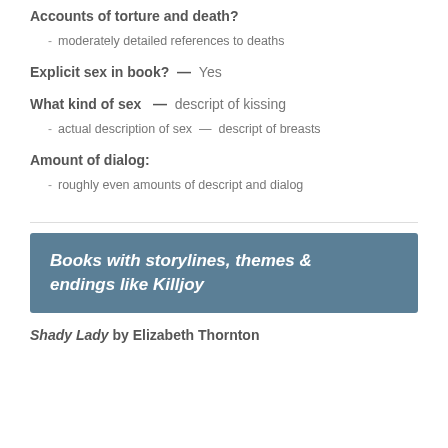Accounts of torture and death?
moderately detailed references to deaths
Explicit sex in book? — Yes
What kind of sex — descript of kissing
actual description of sex — descript of breasts
Amount of dialog:
roughly even amounts of descript and dialog
Books with storylines, themes & endings like Killjoy
Shady Lady by Elizabeth Thornton